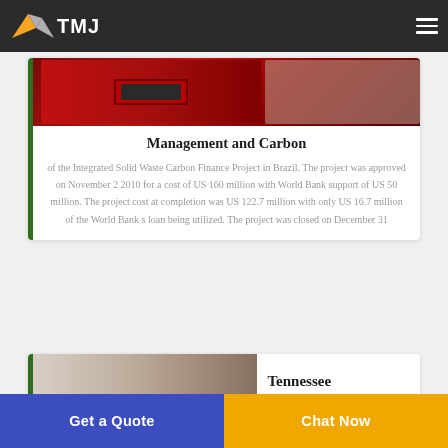TMJ
[Figure (photo): Red equipment tray or tool holder photographed on a wooden surface]
Management and Carbon
of the Integrated Solid Waste Carbon Finance Project in Brazil. The project was approved on November 2 2010 for a cost of US 160 million with World Bank support of US 50 million. The project cost at completion was US 122.7 million with only US 16.7 million of the World Bank s loan being utilized. The project was closed on December 31
[Figure (photo): Worker in safety gear, partially visible at bottom of page]
Tennessee
Get a Quote
Chat Now